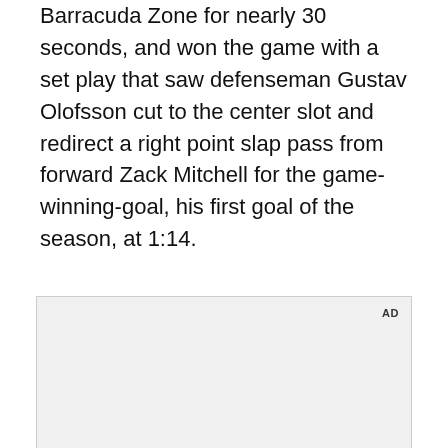Barracuda Zone for nearly 30 seconds, and won the game with a set play that saw defenseman Gustav Olofsson cut to the center slot and redirect a right point slap pass from forward Zack Mitchell for the game-winning-goal, his first goal of the season, at 1:14.
[Figure (other): Advertisement placeholder area with 'AD' label in top right, light gray background]
[Figure (screenshot): Video thumbnail showing a woman in a dark jacket holding up a Samsung foldable phone inside a car, with the text 'Unfold your world' overlaid and a play button in the center]